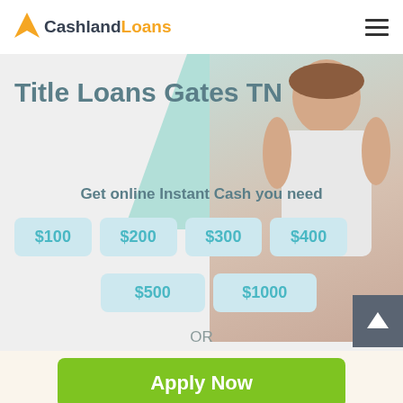[Figure (logo): CashlandLoans logo with orange arrow icon and two-tone text: 'Cashland' in dark gray, 'Loans' in orange]
Title Loans Gates TN
Get online Instant Cash you need
$100
$200
$300
$400
$500
$1000
OR
Apply Now
Applying does NOT affect your credit score!
No credit check to apply.